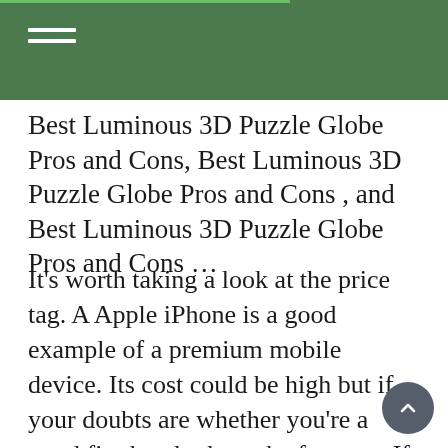Best Luminous 3D Puzzle Globe Pros and Cons, Best Luminous 3D Puzzle Globe Pros and Cons , and Best Luminous 3D Puzzle Globe Pros and Cons …
It's worth taking a look at the price tag. A Apple iPhone is a good example of a premium mobile device. Its cost could be high but if your doubts are whether you're a good fit, then look up the features. If you're planning to spend over six hours every all day with your phone it's best to get a high-end model featuring a battery with the capacity to last longer than six hours. A basic